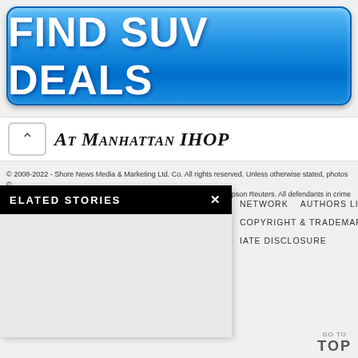[Figure (other): Blue rounded rectangle advertisement button with white bold text reading FIND SUV DEALS]
At Manhattan IHOP
© 2008-2022 - Shore News Media & Marketing Ltd. Co. All rights reserved. Unless otherwise stated, photos © Big Stock Photography © Dreamstime Photos © Google Maps © Thompson Reuters. All defendants in crime are innocent until proven guilty.
ELATED STORIES
NETWORK   AUTHORS LIST
COPYRIGHT & TRADEMARK
IATE DISCLOSURE
GO TO TOP